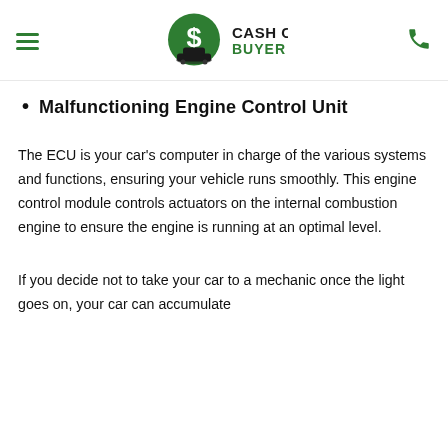Cash Cars Buyer — navigation header
Malfunctioning Engine Control Unit
The ECU is your car's computer in charge of the various systems and functions, ensuring your vehicle runs smoothly. This engine control module controls actuators on the internal combustion engine to ensure the engine is running at an optimal level.
If you decide not to take your car to a mechanic once the light goes on, your car can accumulate